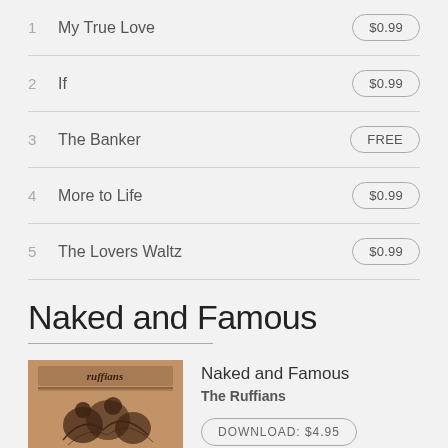1  My True Love  $0.99
2  If  $0.99
3  The Banker  FREE
4  More to Life  $0.99
5  The Lovers Waltz  $0.99
Naked and Famous
[Figure (illustration): Album cover for 'Naked and Famous' by The Ruffians. Vintage brown kraft paper style cover with 'ruffians' text at top in stylized font and an illustration of figures below.]
Naked and Famous
The Ruffians
DOWNLOAD: $4.95